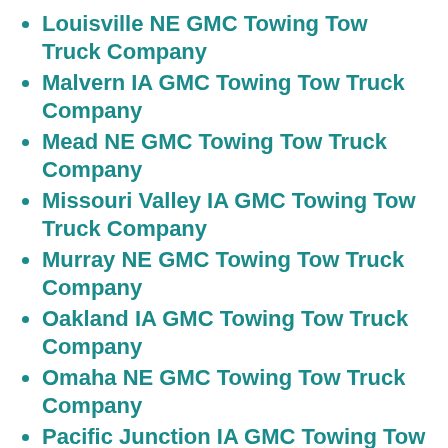Louisville NE GMC Towing Tow Truck Company
Malvern IA GMC Towing Tow Truck Company
Mead NE GMC Towing Tow Truck Company
Missouri Valley IA GMC Towing Tow Truck Company
Murray NE GMC Towing Tow Truck Company
Oakland IA GMC Towing Tow Truck Company
Omaha NE GMC Towing Tow Truck Company
Pacific Junction IA GMC Towing Tow Truck Company
Papillion NE GMC Towing Tow Truck Company
Plattsmouth NE GMC Towing Tow Truck Company